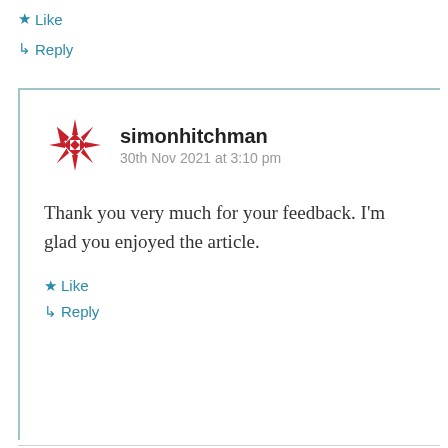★ Like
↳ Reply
simonhitchman
30th Nov 2021 at 3:10 pm
Thank you very much for your feedback. I'm glad you enjoyed the article.
★ Like
↳ Reply